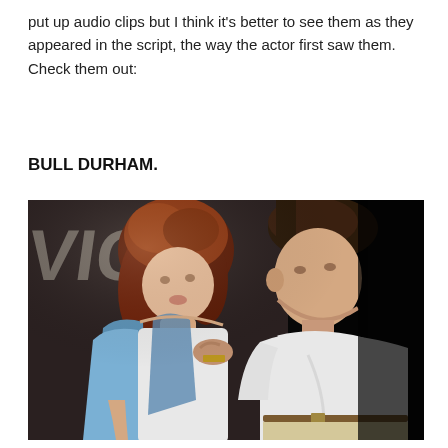put up audio clips but I think it's better to see them as they appeared in the script, the way the actor first saw them. Check them out:
BULL DURHAM.
[Figure (photo): Movie still from Bull Durham showing a woman with auburn curly hair in a white dress with a blue wrap/shawl, facing a man in a white polo shirt who is leaning toward her. They appear to be in a dark backstage or stadium setting with graffiti on the wall behind them.]